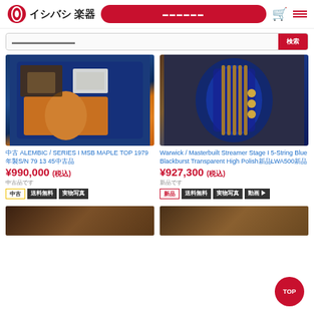イシバシ楽器
[Figure (screenshot): Product listing page for Ishibashi Music online store showing two bass guitars]
中古 ALEMBIC / SERIES I MSB MAPLE TOP 1979年製S/N 79 13 45中古品
¥990,000 (税込)
送料無料 実物写真
Warwick / Masterbuilt Streamer Stage I 5-String Blue Blackburst Transparent High Polish新品LWA500新品
¥927,300 (税込)
新品 送料無料 実物写真 動画